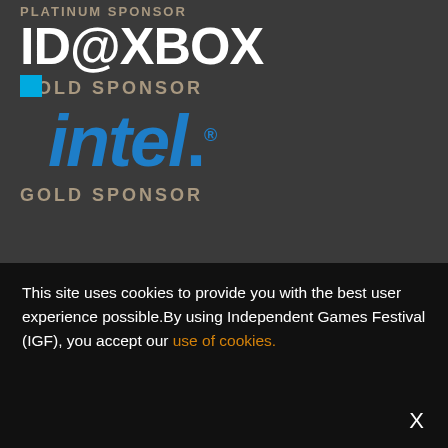PLATINUM SPONSOR
[Figure (logo): ID@Xbox logo in white bold text on dark background]
GOLD SPONSOR
[Figure (logo): Intel logo in blue italic bold text with blue square icon on dark background]
GOLD SPONSOR
This site uses cookies to provide you with the best user experience possible.By using Independent Games Festival (IGF), you accept our use of cookies.